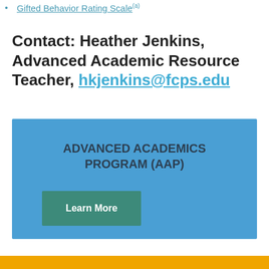Gifted Behavior Rating Scale
Contact: Heather Jenkins, Advanced Academic Resource Teacher, hkjenkins@fcps.edu
[Figure (infographic): Blue box with title 'ADVANCED ACADEMICS PROGRAM (AAP)' and a teal 'Learn More' button]
Gold bar footer